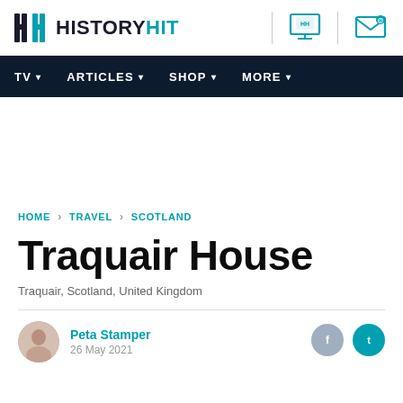HISTORYHIT
TV · ARTICLES · SHOP · MORE
HOME > TRAVEL > SCOTLAND
Traquair House
Traquair, Scotland, United Kingdom
Peta Stamper
26 May 2021